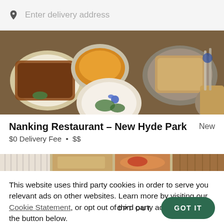Enter delivery address
[Figure (photo): Overhead shot of multiple plates and bowls of restaurant food on a table]
Nanking Restaurant – New Hyde Park
New
$0 Delivery Fee • $$
[Figure (photo): Partial strip/banner of food photography]
This website uses third party cookies in order to serve you relevant ads on other websites. Learn more by visiting our Cookie Statement, or opt out of third party ad cookies using the button below.
OPT OUT
GOT IT